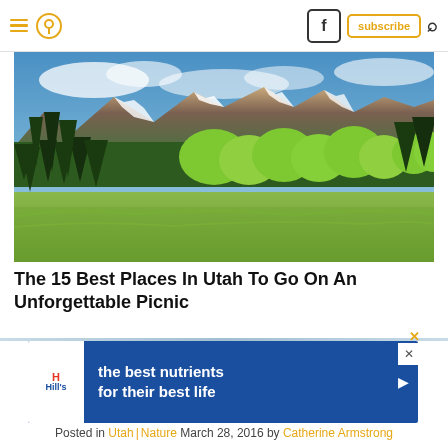Navigation bar with hamburger menu, location pin icon, Facebook button, subscribe button, and search icon
[Figure (photo): Panoramic landscape photo of Utah mountains with snow-capped peaks, dense evergreen trees, bright green aspen trees, and an open green meadow under a partly cloudy blue sky]
The 15 Best Places In Utah To Go On An Unforgettable Picnic
[Figure (other): Advertisement banner for Hill's pet nutrition with blue background, Hill's logo, text: 'the best nutrients for their best life', and a play button]
Posted in Utah | Nature March 28, 2016 by Catherine Armstrong